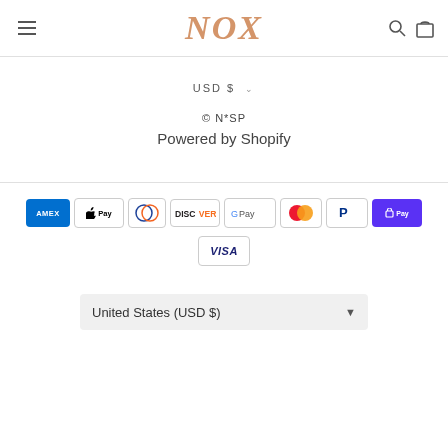NOX
USD $ ▾
© N*SP
Powered by Shopify
[Figure (other): Payment method logos: American Express, Apple Pay, Diners Club, Discover, Google Pay, Mastercard, PayPal, Shop Pay, Visa]
United States (USD $)